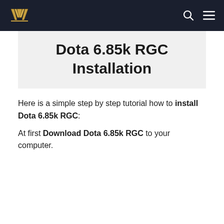[Logo] [Search icon] [Menu icon]
Dota 6.85k RGC Installation
Here is a simple step by step tutorial how to install Dota 6.85k RGC: At first Download Dota 6.85k RGC to your computer.